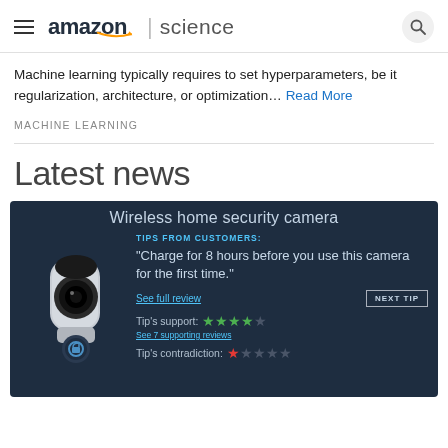amazon science
Machine learning typically requires to set hyperparameters, be it regularization, architecture, or optimization… Read More
MACHINE LEARNING
Latest news
[Figure (illustration): Dark blue product card for a Wireless home security camera showing a stylized camera illustration on the left. Right side shows: 'TIPS FROM CUSTOMERS:' in teal, a quote 'Charge for 8 hours before you use this camera for the first time.' with 'See full review' link, a 'NEXT TIP' button, 'Tip's support:' with 4 out of 5 green stars, 'See 7 supporting reviews' link, and 'Tip's contradiction:' with 1 out of 5 red/empty stars.]